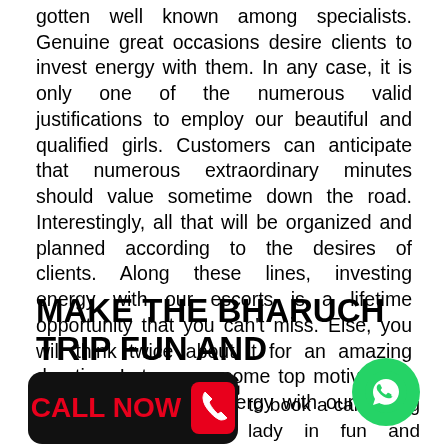gotten well known among specialists. Genuine great occasions desire clients to invest energy with them. In any case, it is only one of the numerous valid justifications to employ our beautiful and qualified girls. Customers can anticipate that numerous extraordinary minutes should value sometime down the road. Interestingly, all that will be organized and planned according to the desires of clients. Along these lines, investing energy with our escorts is a lifetime opportunity that you can't miss. Else, you will think twice about it for an amazing duration. Let us see some top motivations to book and invest energy with our horny escorts:
MAKE THE BHARUCH TRIP FUN AND ENERGITING
[Figure (other): Black rounded rectangle button with red text CALL NOW and a red phone icon on right side]
[Figure (other): Green circular WhatsApp icon button]
to book a call young lady in fun and fervor to your